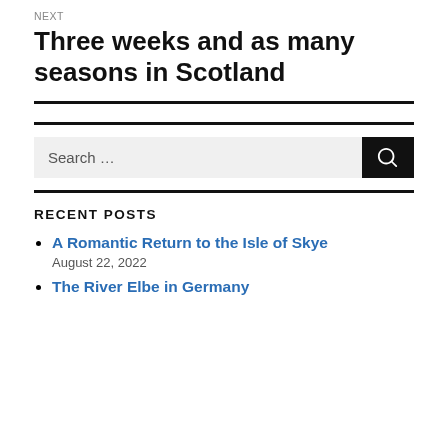NEXT
Three weeks and as many seasons in Scotland
RECENT POSTS
A Romantic Return to the Isle of Skye
August 22, 2022
The River Elbe in Germany